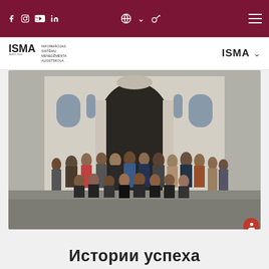ISMA University website header with social media icons (Facebook, Instagram, YouTube, LinkedIn), globe/language selector, key icon, and hamburger menu
[Figure (logo): ISMA logo: bold ISMA text with full name 'Informācijas Sistēmu Menedžmenta Augstskola' and 'Anno 1994' tagline, alongside ISMA dropdown navigation on the right]
[Figure (photo): Group photo of approximately 30 people standing and crouching in front of a grand arched building entrance, taken outdoors on a grey day]
Истории успеха